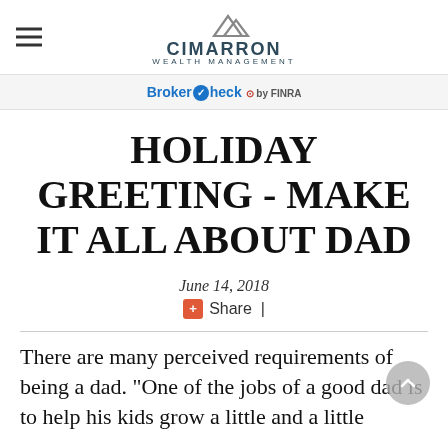CIMARRON WEALTH MANAGEMENT
BrokerCheck by FINRA
HOLIDAY GREETING - MAKE IT ALL ABOUT DAD
June 14, 2018
Share |
There are many perceived requirements of being a dad. “One of the jobs of a good dad is to help his kids grow a little and a little